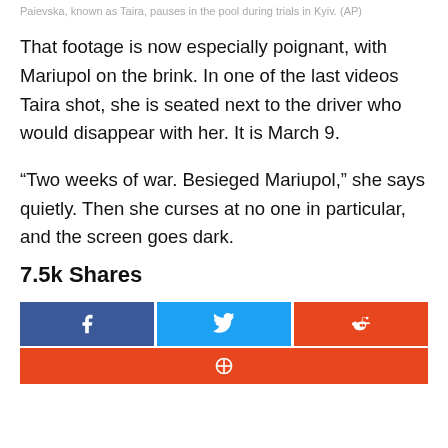Paievska, known as Taira, pauses in the pool during trials in Kyiv. (AP)
That footage is now especially poignant, with Mariupol on the brink. In one of the last videos Taira shot, she is seated next to the driver who would disappear with her. It is March 9.
“Two weeks of war. Besieged Mariupol,” she says quietly. Then she curses at no one in particular, and the screen goes dark.
7.5k Shares
[Figure (infographic): Social share buttons: Facebook (dark blue), Twitter (light blue), Reddit (orange-red), and a partial fourth button (orange-red) at the bottom]